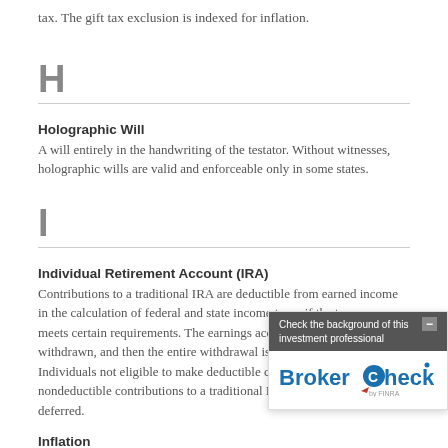tax. The gift tax exclusion is indexed for inflation.
H
Holographic Will
A will entirely in the handwriting of the testator. Without witnesses, holographic wills are valid and enforceable only in some states.
I
Individual Retirement Account (IRA)
Contributions to a traditional IRA are deductible from earned income in the calculation of federal and state income taxes if the taxpayer meets certain requirements. The earnings accumulate tax deferred until withdrawn, and then the entire withdrawal is taxed as ordinary income. Individuals not eligible to make deductible contributions may make nondeductible contributions to a traditional IRA, which would be tax deferred.
Inflation
An increase in the price of products and services